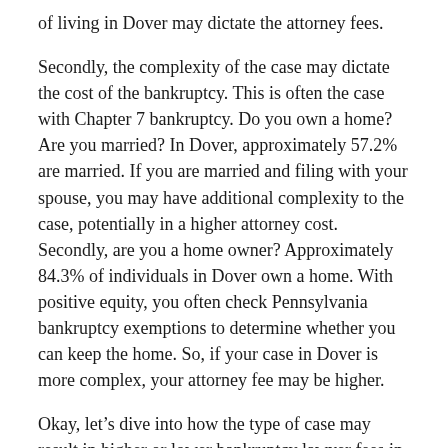of living in Dover may dictate the attorney fees.
Secondly, the complexity of the case may dictate the cost of the bankruptcy. This is often the case with Chapter 7 bankruptcy. Do you own a home? Are you married? In Dover, approximately 57.2% are married. If you are married and filing with your spouse, you may have additional complexity to the case, potentially in a higher attorney cost. Secondly, are you a home owner? Approximately 84.3% of individuals in Dover own a home. With positive equity, you often check Pennsylvania bankruptcy exemptions to determine whether you can keep the home. So, if your case in Dover is more complex, your attorney fee may be higher.
Okay, let’s dive into how the type of case may result in higher or lower bankruptcy lawyer fees in